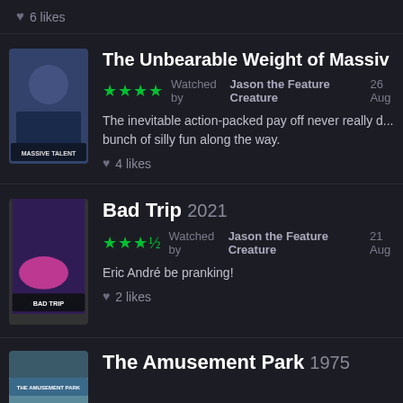6 likes
The Unbearable Weight of Massive Talent
★★★★ Watched by Jason the Feature Creature 26 Aug
The inevitable action-packed pay off never really d... bunch of silly fun along the way.
4 likes
Bad Trip 2021
★★★½ Watched by Jason the Feature Creature 21 Aug
Eric André be pranking!
2 likes
The Amusement Park 1975